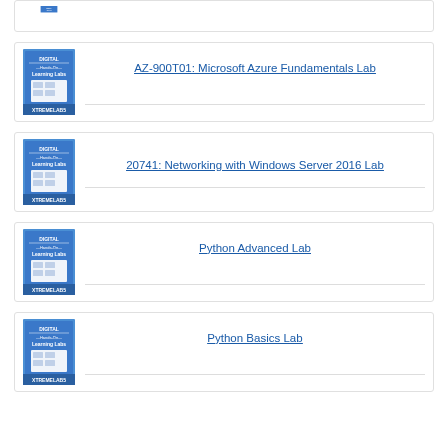[Figure (illustration): XtremeLabs Digital Hands-On Learning Labs book cover (partial, top card)]
[Figure (illustration): XtremeLabs Digital Hands-On Learning Labs book cover]
AZ-900T01: Microsoft Azure Fundamentals Lab
[Figure (illustration): XtremeLabs Digital Hands-On Learning Labs book cover]
20741: Networking with Windows Server 2016 Lab
[Figure (illustration): XtremeLabs Digital Hands-On Learning Labs book cover]
Python Advanced Lab
[Figure (illustration): XtremeLabs Digital Hands-On Learning Labs book cover]
Python Basics Lab